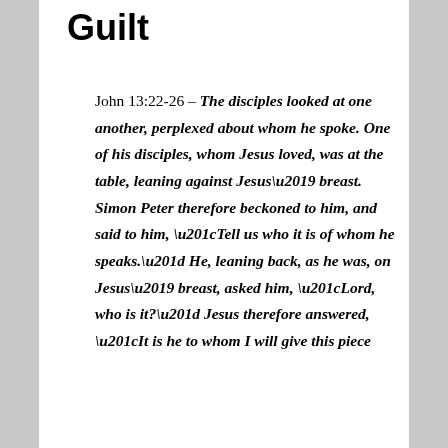Guilt
John 13:22-26 – The disciples looked at one another, perplexed about whom he spoke. One of his disciples, whom Jesus loved, was at the table, leaning against Jesus' breast. Simon Peter therefore beckoned to him, and said to him, “Tell us who it is of whom he speaks.” He, leaning back, as he was, on Jesus’ breast, asked him, “Lord, who is it?” Jesus therefore answered, “It is he to whom I will give this piece